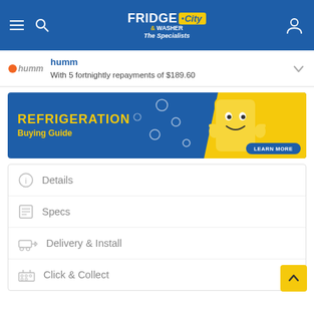Fridge & Washer City — The Specialists
humm — With 5 fortnightly repayments of $189.60
[Figure (infographic): Refrigeration Buying Guide promotional banner with blue background, yellow cartoon fridge character giving thumbs up, and a 'LEARN MORE' button]
Details
Specs
Delivery & Install
Click & Collect